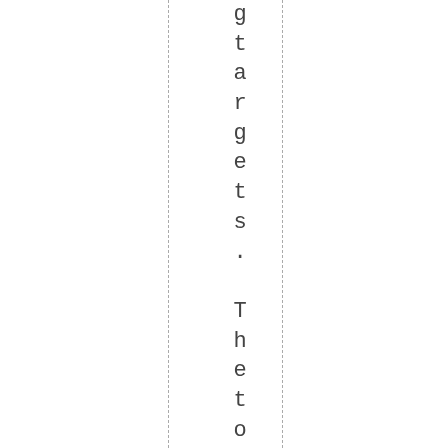g t a r g e t s .   T h e t o u g h e r 1 . 5 C g